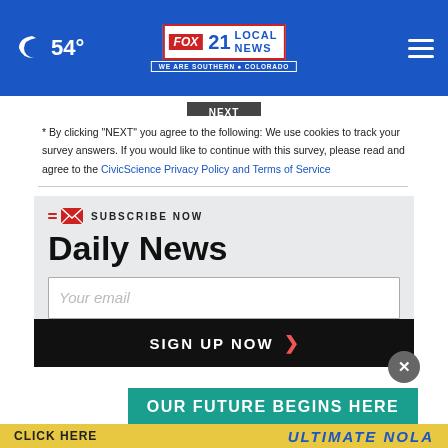54° FOX 21 LOCAL NEWS — WE ARE SOUTHERN COLORADO
* By clicking "NEXT" you agree to the following: We use cookies to track your survey answers. If you would like to continue with this survey, please read and agree to the CivicScience Privacy Policy and Terms of Service
[Figure (infographic): Subscribe Now newsletter signup box with Daily News heading, email input field, and SIGN UP NOW button]
[Figure (infographic): Teal banner reading OUR FUTURE BEGINS HERE]
[Figure (infographic): Yellow banner with CLICK HERE on left and ULTIMATE NOLA on right]